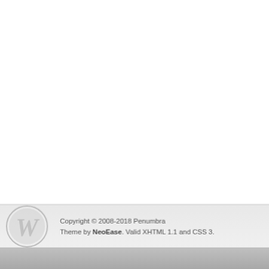Copyright © 2008-2018 Penumbra Theme by NeoEase. Valid XHTML 1.1 and CSS 3.